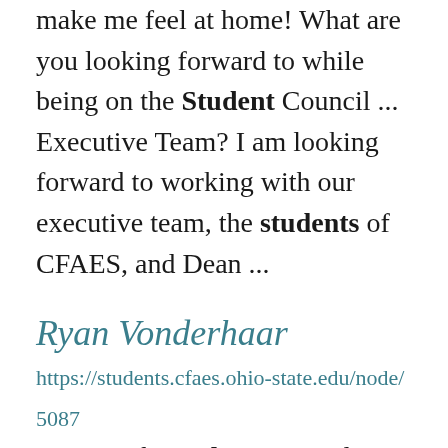make me feel at home! What are you looking forward to while being on the Student Council ... Executive Team? I am looking forward to working with our executive team, the students of CFAES, and Dean ...
Ryan Vonderhaar
https://students.cfaes.ohio-state.edu/node/5087 Years with Student Council: 1 year Fun Fact: I work part time for the Columbus Blue Jackets on ... forward to the most when working with the Student Council Executive Team? I look forward to working with ... students thrive. Last year was our